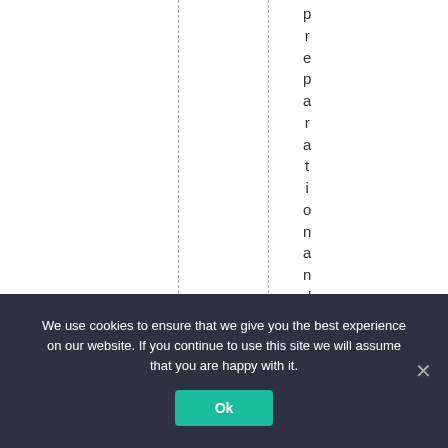[Figure (other): White page background with two vertical dashed lines and vertical text reading 'preparation and rele' running from top to bottom on the right side]
We use cookies to ensure that we give you the best experience on our website. If you continue to use this site we will assume that you are happy with it. Ok